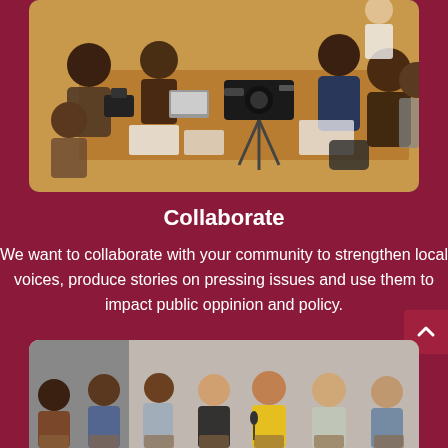[Figure (photo): Group of people sitting around a table with cameras and laptops, appearing to be a media or journalism workshop/meeting]
Collaborate
We want to collaborate with your community to strengthen local voices, produce stories on pressing issues and use them to impact public oppinion and policy.
[Figure (photo): Group of people sitting in chairs on a stage or panel, appearing to be a discussion or forum event]